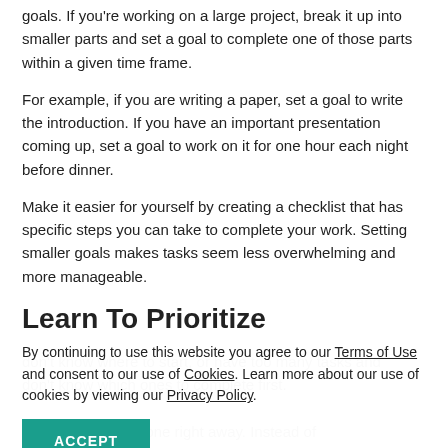goals. If you're working on a large project, break it up into smaller parts and set a goal to complete one of those parts within a given time frame.
For example, if you are writing a paper, set a goal to write the introduction. If you have an important presentation coming up, set a goal to work on it for one hour each night before dinner.
Make it easier for yourself by creating a checklist that has specific steps you can take to complete your work. Setting smaller goals makes tasks seem less overwhelming and more manageable.
Learn To Prioritize
By continuing to use this website you agree to our Terms of Use and consent to our use of Cookies. Learn more about our use of cookies by viewing our Privacy Policy.
ACCEPT
don't know where to start, or have too many tasks and don't know which ones to complete first.
to get everything done right away. Instead of trying to accomplish too much at one time, set priorities for